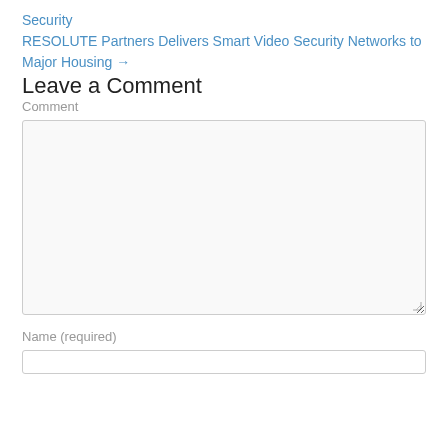Security
RESOLUTE Partners Delivers Smart Video Security Networks to Major Housing →
Leave a Comment
Comment
[Figure (other): Comment textarea input field]
Name (required)
[Figure (other): Name text input field]